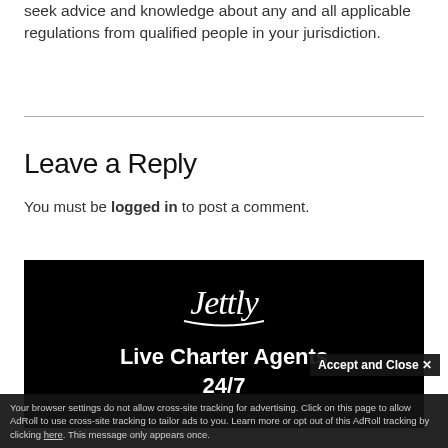seek advice and knowledge about any and all applicable regulations from qualified people in your jurisdiction.
Leave a Reply
You must be logged in to post a comment.
[Figure (illustration): Jettly advertisement banner with black background showing Jettly logo and text 'Live Charter Agents 24/7']
Accept and Close ✕
Your browser settings do not allow cross-site tracking for advertising. Click on this page to allow AdRoll to use cross-site tracking to tailor ads to you. Learn more or opt out of this AdRoll tracking by clicking here. This message only appears once.